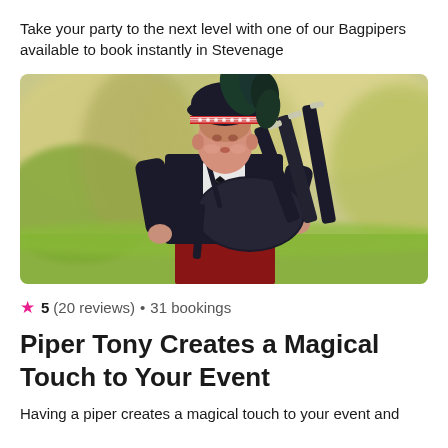Take your party to the next level with one of our Bagpipers available to book instantly in Stevenage
[Figure (photo): A man in traditional Scottish attire (black jacket, tartan kilt, black feathered bonnet) playing bagpipes outdoors with a blurred green and yellow background.]
★ 5 (20 reviews) • 31 bookings
Piper Tony Creates a Magical Touch to Your Event
Having a piper creates a magical touch to your event and